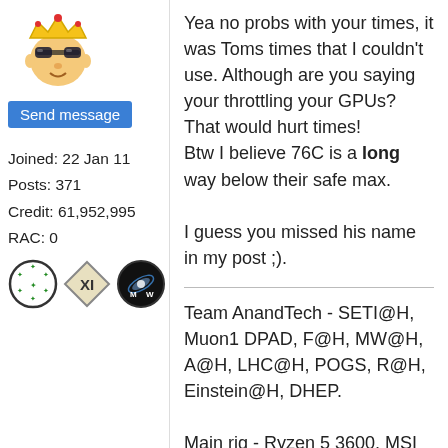[Figure (illustration): Avatar image of a cartoon man wearing a crown and sunglasses]
Send message
Joined: 22 Jan 11
Posts: 371
Credit: 61,952,995
RAC: 0
[Figure (illustration): Three badge icons: a circular star badge, a diamond XI badge, and a circular MW badge]
Yea no probs with your times, it was Toms times that I couldn't use. Although are you saying your throttling your GPUs? That would hurt times!
Btw I believe 76C is a long way below their safe max.

I guess you missed his name in my post ;).
Team AnandTech - SETI@H, Muon1 DPAD, F@H, MW@H, A@H, LHC@H, POGS, R@H, Einstein@H, DHEP.

Main rig - Ryzen 5 3600, MSI B450 G.Pro C. AC, RX 580 8GB, 32GB DDR4 3200, Win 10 64bit
2nd rig - i7 4930k @4.1 GHz, HD 7870 XT 3GB(DS), 16GB DDR3